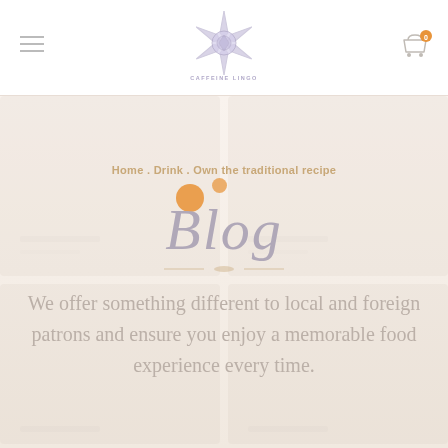[Figure (logo): Caffeine Lingo decorative snowflake/mandala logo in muted lavender/purple with text CAFFEINE LINGO]
[Figure (illustration): Shopping cart icon with orange badge showing 0]
Home . Drink . Own the traditional recipe
Blog
We offer something different to local and foreign patrons and ensure you enjoy a memorable food experience every time.